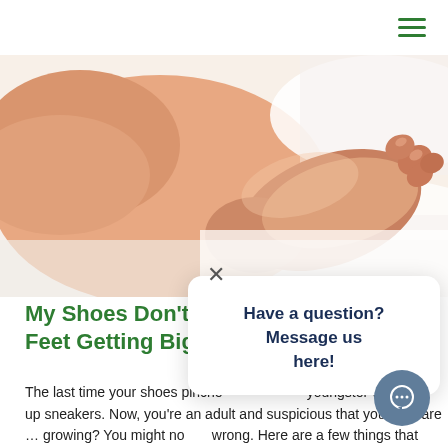[Figure (photo): Close-up photo of bare feet/soles of a person lying on a white surface, soft focus, skin tones against white background]
My Shoes Don't Fit. Are My Feet Getting Bigger?
The last time your shoes pinched your feet, you were a youngster with light-up sneakers. Now, you're an adult and suspicious that your feet are … growing? You might not be wrong. Here are a few things that contribute to grow
[Figure (screenshot): Chat popup overlay with text 'Have a question? Message us here!' with close button X and chat circle button]